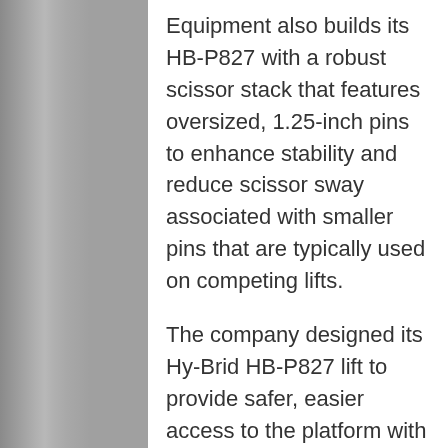Equipment also builds its HB-P827 with a robust scissor stack that features oversized, 1.25-inch pins to enhance stability and reduce scissor sway associated with smaller pins that are typically used on competing lifts.
The company designed its Hy-Brid HB-P827 lift to provide safer, easier access to the platform with an entry height of 25.5 inches, one of the lowest available. This not only reduces fatigue and knee strain associated with climbing on and off the lifts, but also nearly eliminates the potential for falls that can occur when operators are loading and unloading